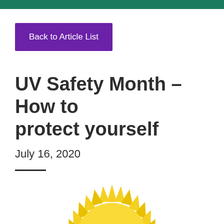Back to Article List
UV Safety Month – How to protect yourself
July 16, 2020
[Figure (illustration): Partially visible sunflower / sun illustration with yellow petals and dark center at the bottom of the page]